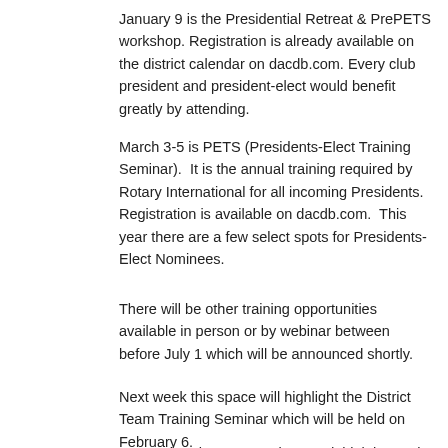January 9 is the Presidential Retreat & PrePETS workshop. Registration is already available on the district calendar on dacdb.com. Every club president and president-elect would benefit greatly by attending.
March 3-5 is PETS (Presidents-Elect Training Seminar).  It is the annual training required by Rotary International for all incoming Presidents. Registration is available on dacdb.com.  This year there are a few select spots for Presidents-Elect Nominees.
There will be other training opportunities available in person or by webinar between before July 1 which will be announced shortly.
Next week this space will highlight the District Team Training Seminar which will be held on February 6.
Remember that no Rotarian need think he or she is